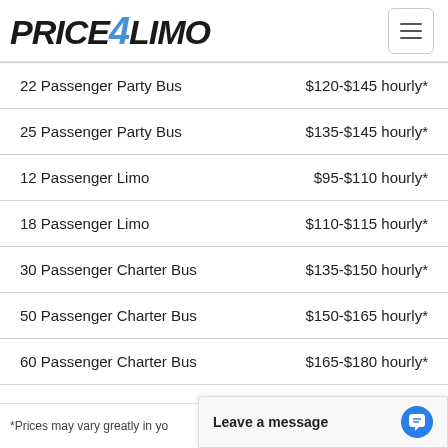PRICE4LIMO
| Vehicle | Price |
| --- | --- |
| 22 Passenger Party Bus | $120-$145 hourly* |
| 25 Passenger Party Bus | $135-$145 hourly* |
| 12 Passenger Limo | $95-$110 hourly* |
| 18 Passenger Limo | $110-$115 hourly* |
| 30 Passenger Charter Bus | $135-$150 hourly* |
| 50 Passenger Charter Bus | $150-$165 hourly* |
| 60 Passenger Charter Bus | $165-$180 hourly* |
*Prices may vary greatly in yo...
Leave a message